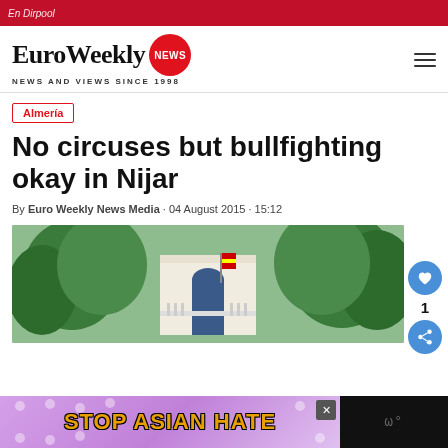EuroWeekly NEWS - NEWS AND VIEWS SINCE 1998
Almería
No circuses but bullfighting okay in Nijar
By Euro Weekly News Media · 04 August 2015 · 15:12
[Figure (photo): Exterior of a building with trees and a Spanish flag visible, likely a municipal building in Nijar]
[Figure (other): Advertisement banner reading STOP ASIAN HATE with floral background and anime character]